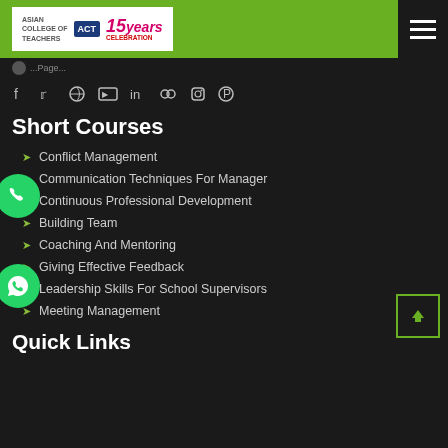Asian College of Teachers - 15 Years Celebration
social media icons: facebook, twitter, dribbble, youtube, linkedin, flickr, instagram, pinterest
Short Courses
Conflict Management
Communication Techniques For Manager
Continuous Professional Development
Building Team
Coaching And Mentoring
Giving Effective Feedback
Leadership Skills For School Supervisors
Meeting Management
Quick Links